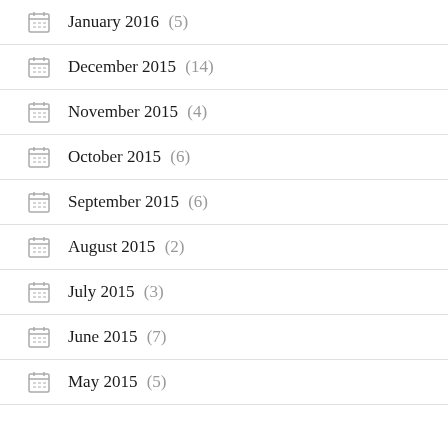January 2016 (5)
December 2015 (14)
November 2015 (4)
October 2015 (6)
September 2015 (6)
August 2015 (2)
July 2015 (3)
June 2015 (7)
May 2015 (5)